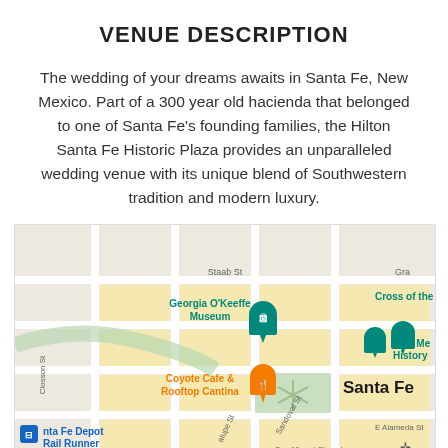VENUE DESCRIPTION
The wedding of your dreams awaits in Santa Fe, New Mexico. Part of a 300 year old hacienda that belonged to one of Santa Fe's founding families, the Hilton Santa Fe Historic Plaza provides an unparalleled wedding venue with its unique blend of Southwestern tradition and modern luxury.
[Figure (map): Street map of Santa Fe, New Mexico showing landmarks including Georgia O'Keeffe Museum, Cross of the M[artirs], New Me[xico History Museum], Coyote Cafe & Rooftop Cantina, Santa Fe Depot Rail Runner, with streets including Staab St, Closson St, Sandoval St, E Alameda St, San Miguel Chapel area.]